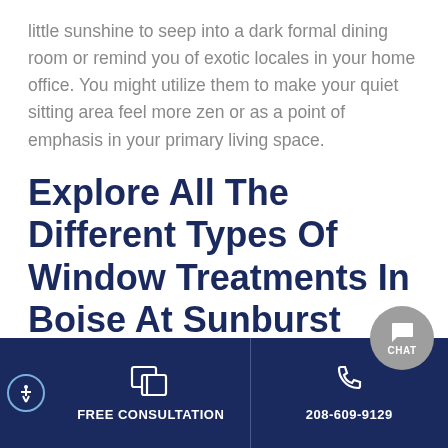little sunshine to seep into a dark formal dining room or remind you of exotic locales in your home office. You might utilize them to make your quiet sitting area feel more zen or as a point of emphasis in your primary living space.
Explore All The Different Types Of Window Treatments In Boise At Sunburst Shutters Boise
Let the experts at Sunburst Shutters Boise as…
FREE CONSULTATION | 208-609-9129 | CHAT